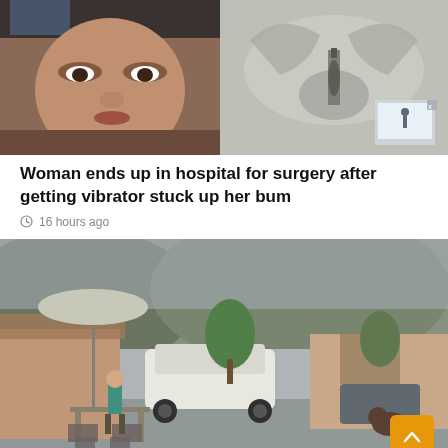[Figure (photo): Left: close-up face of a woman with blue hair. Right: X-ray image of pelvis area.]
Woman ends up in hospital for surgery after getting vibrator stuck up her bum
16 hours ago
[Figure (photo): Aerial/security camera view of a suburban driveway with a white SUV, patio furniture with umbrella, and houses in background.]
Man Lets Go Of Stroller Carrying Baby While Saving A Dog